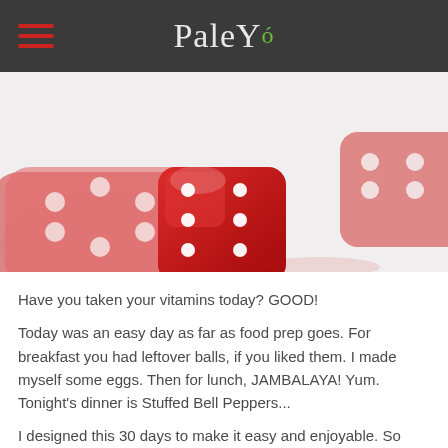PaleYó
[Figure (photo): Three red transparent dice rolling on a white surface, with motion blur on the foreground dice and a clear focus on the central die showing white dots.]
Have you taken your vitamins today?  GOOD!
Today was an easy day as far as food prep goes.  For breakfast you had leftover balls, if you liked them.  I made myself some eggs.  Then for lunch, JAMBALAYA!  Yum.  Tonight's dinner is Stuffed Bell Peppers...
I designed this 30 days to make it easy and enjoyable.  So